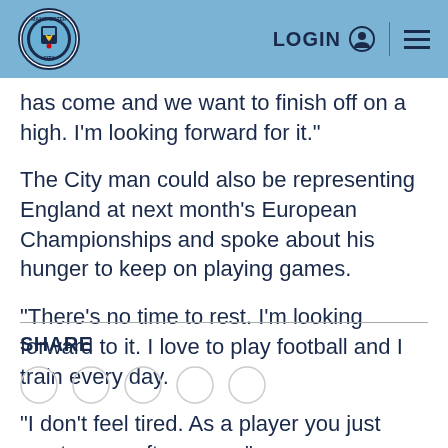Manchester City website header with logo, LOGIN and menu
has come and we want to finish off on a high. I'm looking forward for it."
The City man could also be representing England at next month's European Championships and spoke about his hunger to keep on playing games.
"There's no time to rest. I'm looking forward to it. I love to play football and I train every day.
"I don't feel tired. As a player you just want game after game."
SHARE